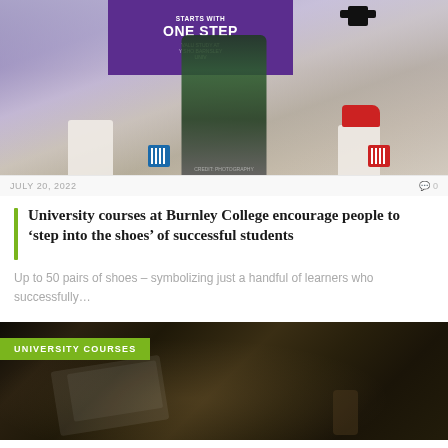[Figure (photo): Woman in green blazer standing in front of a purple promotional banner reading 'STARTS WITH ONE STEP', with decorative shoes and graduation caps displayed on white pedestals outdoors in a town square. QR codes visible on blue and red stands.]
JULY 20, 2022
0
University courses at Burnley College encourage people to ‘step into the shoes’ of successful students
Up to 50 pairs of shoes – symbolizing just a handful of learners who successfully…
[Figure (photo): Dark overhead photograph of a desk with notebooks, pencils in a pencil holder, a phone, and other stationery items on a dark surface. A green label reads 'UNIVERSITY COURSES'.]
UNIVERSITY COURSES